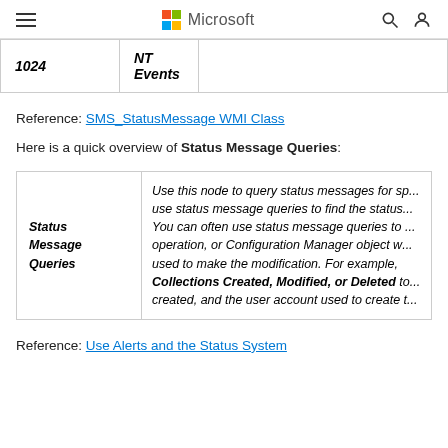Microsoft
| 1024 | NT Events |  |
Reference: SMS_StatusMessage WMI Class
Here is a quick overview of Status Message Queries:
| Status Message Queries | Use this node to query status messages for specific components. You can use status message queries to find the status ... You can often use status message queries to ... operation, or Configuration Manager object w... used to make the modification. For example, Collections Created, Modified, or Deleted to ... created, and the user account used to create t... |
Reference: Use Alerts and the Status System